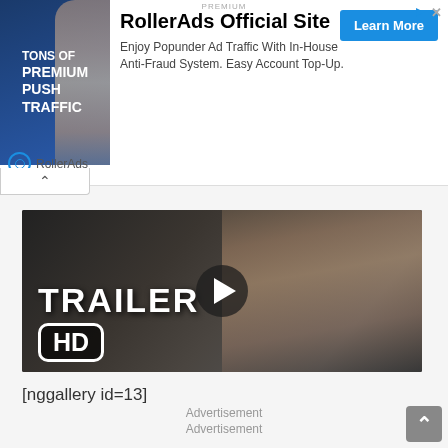[Figure (screenshot): RollerAds advertisement banner with blue background showing woman and 'Tons of Premium Push Traffic' text, RollerAds logo, headline, description, and Learn More button]
[Figure (screenshot): Movie trailer video thumbnail showing man on phone with TRAILER HD overlay text and play button]
[nggallery id=13]
Advertisement
Advertisement